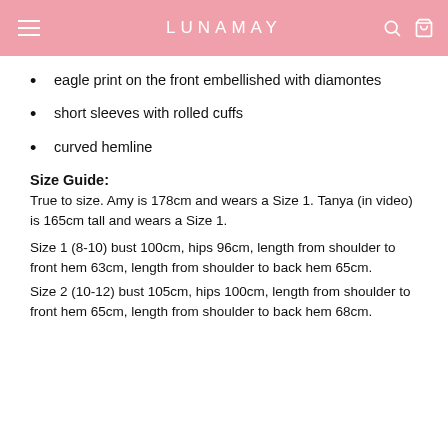LUNAMAY
eagle print on the front embellished with diamontes
short sleeves with rolled cuffs
curved hemline
Size Guide:
True to size. Amy is 178cm and wears a Size 1. Tanya (in video) is 165cm tall and wears a Size 1.
Size 1 (8-10) bust 100cm, hips 96cm, length from shoulder to front hem 63cm, length from shoulder to back hem 65cm.
Size 2 (10-12) bust 105cm, hips 100cm, length from shoulder to front hem 65cm, length from shoulder to back hem 68cm.